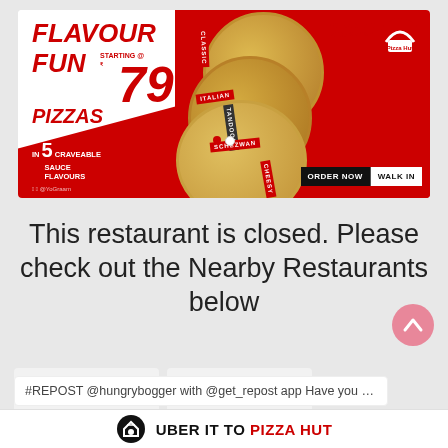[Figure (photo): Pizza Hut promotional banner ad: 'FLAVOUR FUN PIZZAS STARTING @ ₹79 IN 5 CRAVEABLE SAUCE FLAVOURS' with pizza images labeled Classic, Italian, Tandoori, Schezwan, Cheesy. Buttons: ORDER NOW | WALK IN. Top right: Pizza Hut logo, DIL KHOL KE DELIVERING.]
This restaurant is closed. Please check out the Nearby Restaurants below
#REPOST @hungrybogger with @get_repost app Have you tried
UBER IT TO PIZZA HUT